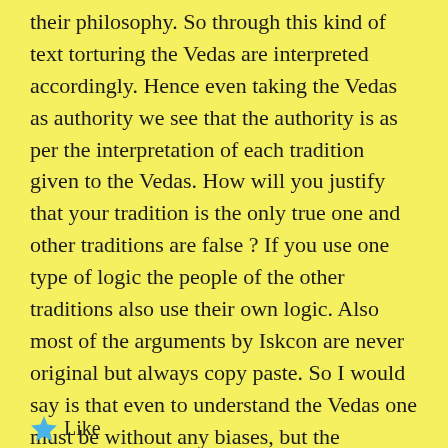their philosophy. So through this kind of text torturing the Vedas are interpreted accordingly. Hence even taking the Vedas as authority we see that the authority is as per the interpretation of each tradition given to the Vedas. How will you justify that your tradition is the only true one and other traditions are false ? If you use one type of logic the people of the other traditions also use their own logic. Also most of the arguments by Iskcon are never original but always copy paste. So I would say is that even to understand the Vedas one must be without any biases, but the problem is that the tradition places those biases on the person.